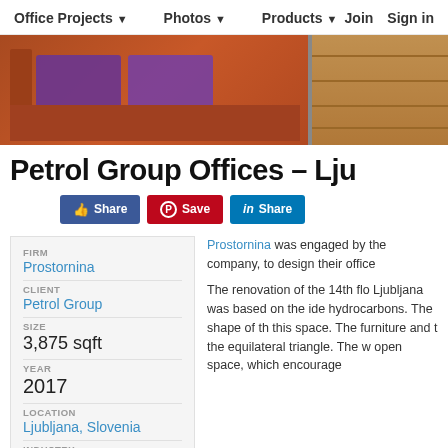Office Projects ▼   Photos ▼   Products ▼   Join   Sign in
[Figure (photo): Hero image showing orange sectional sofa with purple cushions on left, wood floor on right]
Petrol Group Offices – Lju
Share  Save  Share (social media buttons)
| FIRM | Prostornina |
| CLIENT | Petrol Group |
| SIZE | 3,875 sqft |
| YEAR | 2017 |
| LOCATION | Ljubljana, Slovenia |
| INDUSTRY | Energy / Mining / Oil... |
Prostornina was engaged by the company, to design their office

The renovation of the 14th flo Ljubljana was based on the ide hydrocarbons. The shape of th this space. The furniture and t the equilateral triangle. The w open space, which encourage